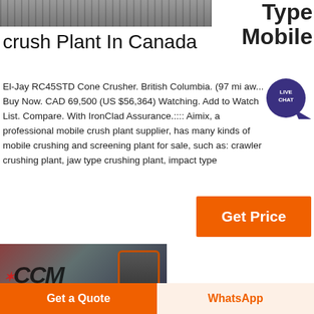[Figure (photo): Partial photo of industrial crushing/screening machinery at top left]
Type
Mobile
crush Plant In Canada
El-Jay RC45STD Cone Crusher. British Columbia. (97 mi aw... Buy Now. CAD 69,500 (US $56,364) Watching. Add to Watch List. Compare. With IronClad Assurance.:::: Aimix, a professional mobile crush plant supplier, has many kinds of mobile crushing and screening plant for sale, such as: crawler crushing plant, jaw type crushing plant, impact type
[Figure (other): Live Chat bubble icon]
[Figure (other): Orange Get Price button]
[Figure (photo): Photo of CCM cone crusher machinery in industrial warehouse]
[Figure (other): Orange Get a Quote button at bottom left]
[Figure (other): WhatsApp button at bottom right on light background]